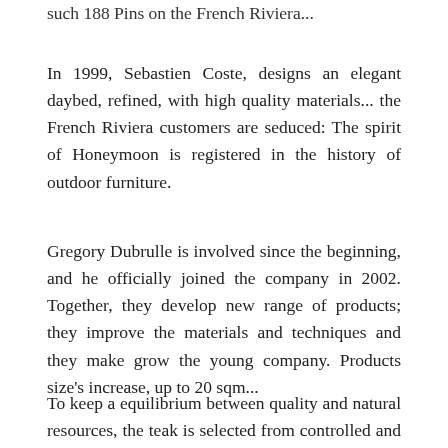such 188 Pins on the French Riviera...
In 1999, Sebastien Coste, designs an elegant daybed, refined, with high quality materials... the French Riviera customers are seduced: The spirit of Honeymoon is registered in the history of outdoor furniture.
Gregory Dubrulle is involved since the beginning, and he officially joined the company in 2002. Together, they develop new range of products; they improve the materials and techniques and they make grow the young company. Products size's increase, up to 20 sqm...
To keep a equilibrium between quality and natural resources, the teak is selected from controlled and regulated forests, and the target is to use only the